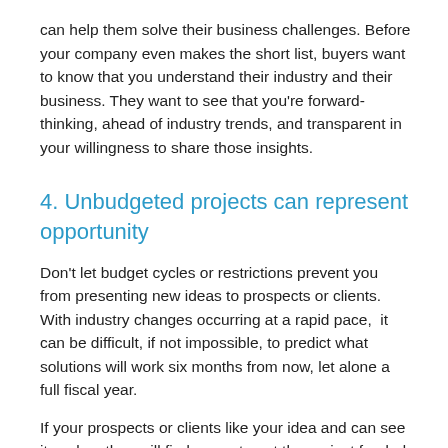can help them solve their business challenges. Before your company even makes the short list, buyers want to know that you understand their industry and their business. They want to see that you're forward-thinking, ahead of industry trends, and transparent in your willingness to share those insights.
4. Unbudgeted projects can represent opportunity
Don't let budget cycles or restrictions prevent you from presenting new ideas to prospects or clients. With industry changes occurring at a rapid pace,  it can be difficult, if not impossible, to predict what solutions will work six months from now, let alone a full fiscal year.
If your prospects or clients like your idea and can see its value, they will find a way to get the project funded.